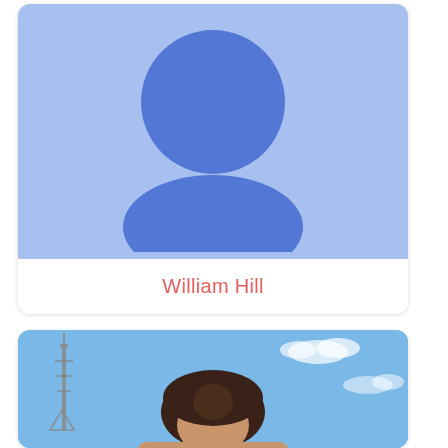[Figure (illustration): Contact card showing a generic blue user avatar icon (circle head and oval body) on a light blue background, with the name 'William Hill' in red/coral text below on white background]
William Hill
[Figure (photo): Partial photo card showing a woman with dark brown hair against a blue sky background with a tower/antenna visible on the left side, photo is cropped at the bottom of the page]